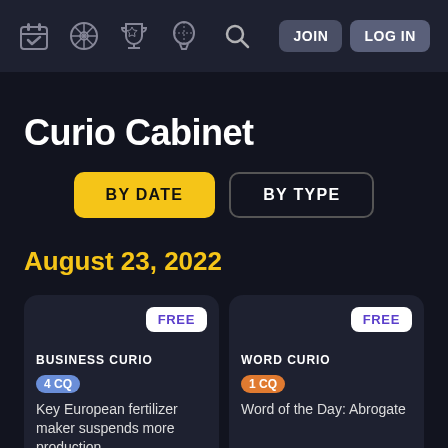Navigation bar with icons: calendar, citrus/mandala, trophy, hot air balloon, search, JOIN, LOG IN
Curio Cabinet
BY DATE | BY TYPE (tab buttons)
August 23, 2022
FREE badge — BUSINESS CURIO — 4CQ Key European fertilizer maker suspends more production ...
FREE badge — WORD CURIO — 1CQ Word of the Day: Abrogate
FREE badge (bottom left) — FREE badge (bottom right)